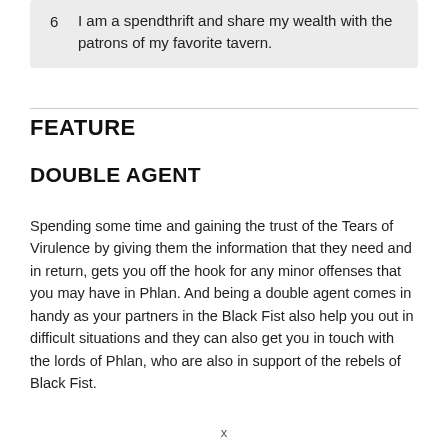| 6 | I am a spendthrift and share my wealth with the patrons of my favorite tavern. |
FEATURE
DOUBLE AGENT
Spending some time and gaining the trust of the Tears of Virulence by giving them the information that they need and in return, gets you off the hook for any minor offenses that you may have in Phlan. And being a double agent comes in handy as your partners in the Black Fist also help you out in difficult situations and they can also get you in touch with the lords of Phlan, who are also in support of the rebels of Black Fist.
x